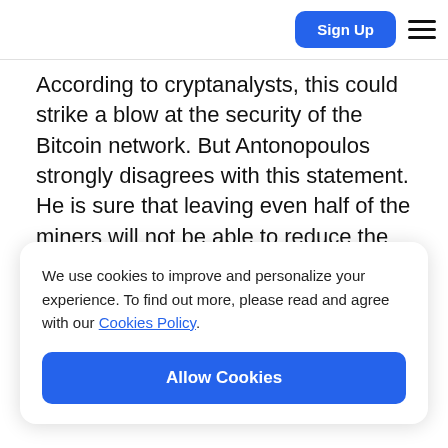Sign Up
According to cryptanalysts, this could strike a blow at the security of the Bitcoin network. But Antonopoulos strongly disagrees with this statement. He is sure that leaving even half of the miners will not be able to reduce the security level of the Bitcoin network.
We use cookies to improve and personalize your experience. To find out more, please read and agree with our Cookies Policy.
Allow Cookies